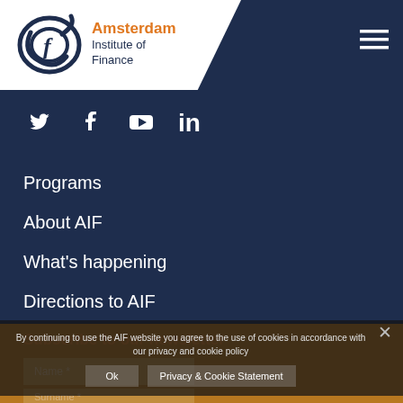[Figure (logo): Amsterdam Institute of Finance logo with circular swirl icon and text]
[Figure (infographic): Social media icons: Twitter, Facebook, YouTube, LinkedIn in white on dark navy background]
Programs
About AIF
What's happening
Directions to AIF
Subscribe to our newsletter
By continuing to use the AIF website you agree to the use of cookies in accordance with our privacy and cookie policy
Ok | Privacy & Cookie Statement